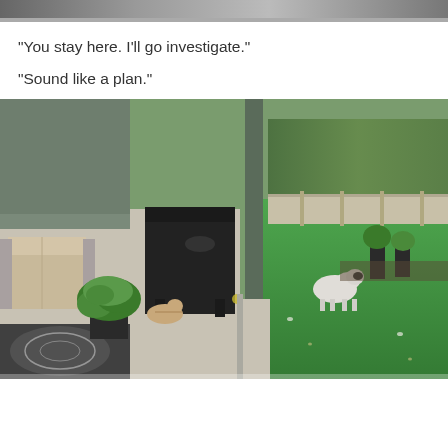[Figure (photo): Partial top image, cropped - appears to be a ceiling or indoor shot, partially visible]
“You stay here. I’ll go investigate.”
“Sound like a plan.”
[Figure (photo): A backyard scene showing a patio with outdoor furniture, a covered BBQ grill, a potted plant, and a dog standing on artificial green grass. There is a cat resting on the patio edge near a decorative rug. Trees and a fence are visible in the background.]